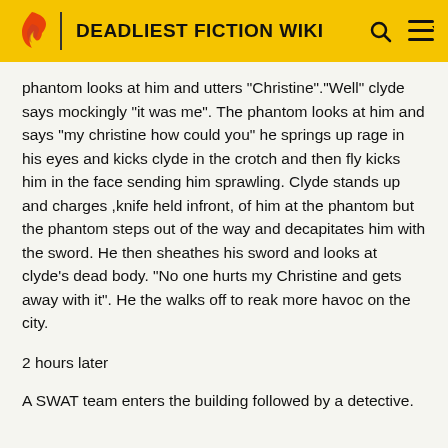DEADLIEST FICTION WIKI
phantom looks at him and utters "Christine"."Well" clyde says mockingly "it was me". The phantom looks at him and says "my christine how could you" he springs up rage in his eyes and kicks clyde in the crotch and then fly kicks him in the face sending him sprawling. Clyde stands up and charges ,knife held infront, of him at the phantom but the phantom steps out of the way and decapitates him with the sword. He then sheathes his sword and looks at clyde's dead body. "No one hurts my Christine and gets away with it". He the walks off to reak more havoc on the city.
2 hours later
A SWAT team enters the building followed by a detective.